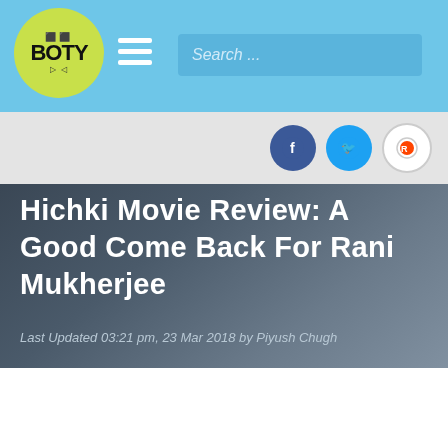BOTY - Search bar header navigation
[Figure (logo): BOTY website logo - yellow-green circle with BOTY text]
Hichki Movie Review: A Good Come Back For Rani Mukherjee
Last Updated 03:21 pm, 23 Mar 2018 by Piyush Chugh